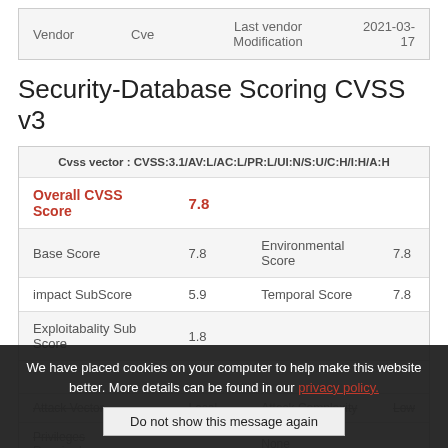| Vendor | Cve | Last vendor Modification | 2021-03-17 |
| --- | --- | --- | --- |
| Vendor | Cve | Last vendor Modification | 2021-03-17 |
Security-Database Scoring CVSS v3
| Cvss vector : CVSS:3.1/AV:L/AC:L/PR:L/UI:N/S:U/C:H/I:H/A:H |
| Overall CVSS Score | 7.8 |  |  |
| Base Score | 7.8 | Environmental Score | 7.8 |
| impact SubScore | 5.9 | Temporal Score | 7.8 |
| Exploitabality Sub Score | 1.8 |  |  |
|  |  |  |  |
| Attack Vector | Local | Attack Complexity | Low |
| Privileges Required |  |  | None |
We have placed cookies on your computer to help make this website better. More details can be found in our privacy policy.